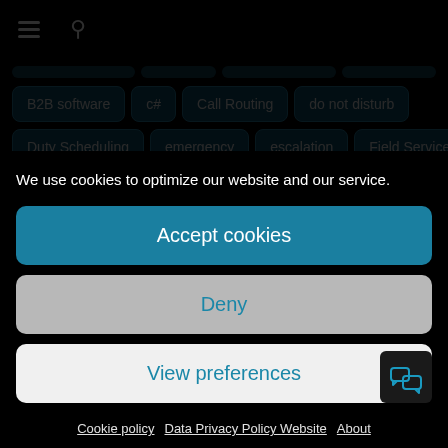[Figure (screenshot): Navigation bar with hamburger menu icon and search icon on dark background]
B2B software
c#
Call Routing
do not disturb
Duty Scheduling
emergency
escalation
Field Services
geofencing
handover
Hotline
ifttt
Industrie 4.0
We use cookies to optimize our website and our service.
Accept cookies
Deny
View preferences
Cookie policy  Data Privacy Policy Website  About